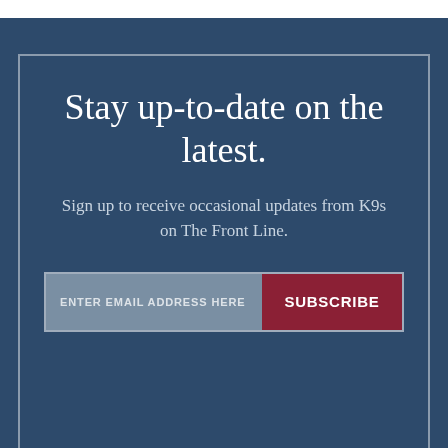Stay up-to-date on the latest.
Sign up to receive occasional updates from K9s on The Front Line.
[Figure (other): Email subscription form with placeholder text 'ENTER EMAIL ADDRESS HERE' and a red 'SUBSCRIBE' button]